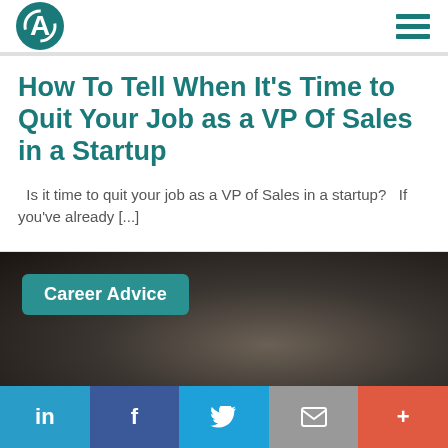A [logo] | hamburger menu
How To Tell When It's Time to Quit Your Job as a VP Of Sales in a Startup
Is it time to quit your job as a VP of Sales in a startup?   If you've already [...]
[Figure (photo): Dark smoky background image with a teal 'Career Advice' badge in the upper left]
Social share bar: LinkedIn, Facebook, Twitter, Email, More